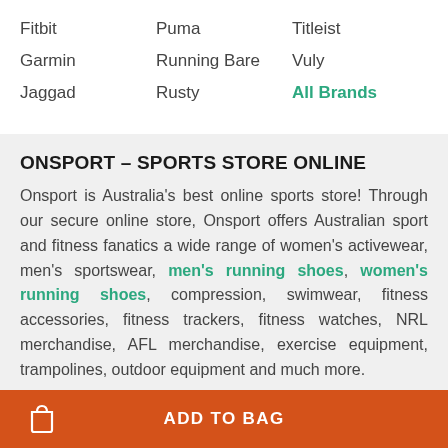Fitbit
Puma
Titleist
Garmin
Running Bare
Vuly
Jaggad
Rusty
All Brands
ONSPORT – SPORTS STORE ONLINE
Onsport is Australia's best online sports store! Through our secure online store, Onsport offers Australian sport and fitness fanatics a wide range of women's activewear, men's sportswear, men's running shoes, women's running shoes, compression, swimwear, fitness accessories, fitness trackers, fitness watches, NRL merchandise, AFL merchandise, exercise equipment, trampolines, outdoor equipment and much more.
ADD TO BAG